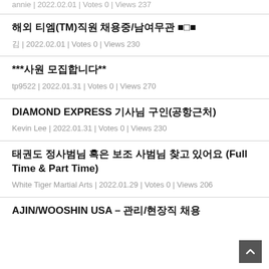annie | 2022.02.01 | Votes 0 | Views 237
해외 티엠(TM)직원 채용중/남여무관 ■□■
김 | 2022.02.01 | Votes 0 | Views 230
***사원 모집합니다**
tp9522 | 2022.01.31 | Votes 0 | Views 270
DIAMOND EXPRESS 기사님 구인(공항근처)
Kevin Lee | 2022.01.31 | Votes 0 | Views 230
태권도 정사범님 혹은 보조 사범님 찾고 있어요 (Full Time & Part Time)
White Tiger Martial Arts | 2022.01.29 | Votes 0 | Views 206
AJIN/WOOSHIN USA – 관리/현장직 채용